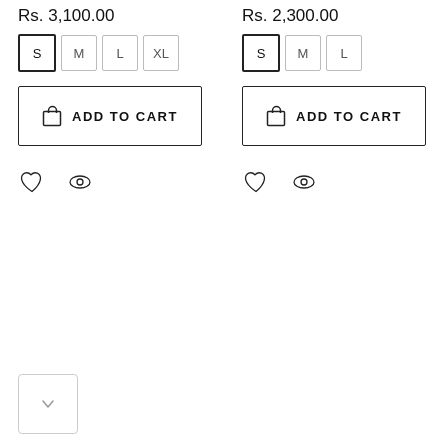Rs. 3,100.00
S M L XL
ADD TO CART
Rs. 2,300.00
S M L
ADD TO CART